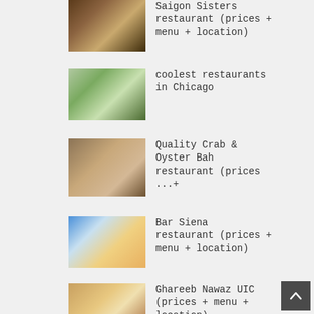Saigon Sisters restaurant (prices + menu + location)
coolest restaurants in Chicago
Quality Crab & Oyster Bah restaurant (prices ...+
Bar Siena restaurant (prices + menu + location)
Ghareeb Nawaz UIC (prices + menu + location)